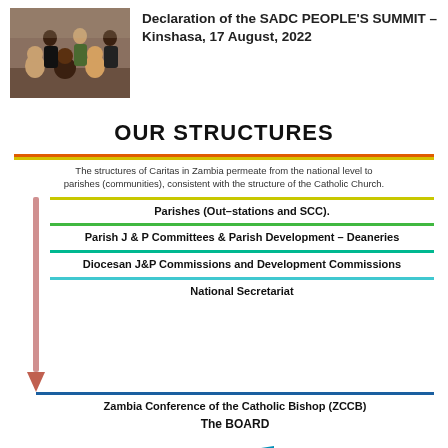[Figure (photo): Group photo of people seated and standing indoors]
Declaration of the SADC PEOPLE'S SUMMIT – Kinshasa, 17 August, 2022
OUR STRUCTURES
[Figure (infographic): Organizational structure diagram of Caritas in Zambia showing hierarchical levels from national to parish level with colored divider lines and a downward arrow. Levels: Parishes (Out-stations and SCC), Parish J & P Committees & Parish Development – Deaneries, Diocesan J&P Commissions and Development Commissions, National Secretariat, Zambia Conference of the Catholic Bishop (ZCCB), The BOARD]
The structures of Caritas in Zambia permeate from the national level to parishes (communities), consistent with the structure of the Catholic Church.